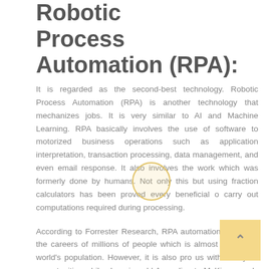Robotic Process Automation (RPA):
It is regarded as the second-best technology. Robotic Process Automation (RPA) is another technology that mechanizes jobs. It is very similar to AI and Machine Learning. RPA basically involves the use of software to motorized business operations such as application interpretation, transaction processing, data management, and even email response. It also involves the work which was formerly done by humans. Not only this but using fraction calculators has been proved every beneficial o carry out computations required during processing.
According to Forrester Research, RPA automation will scare the careers of millions of people which is almost 9% of the world's population. However, it is also pro us with new jobs opportunities while changing old According to McKinsey, only around 60% of missions can be completely automized. RPA gives a wide range of